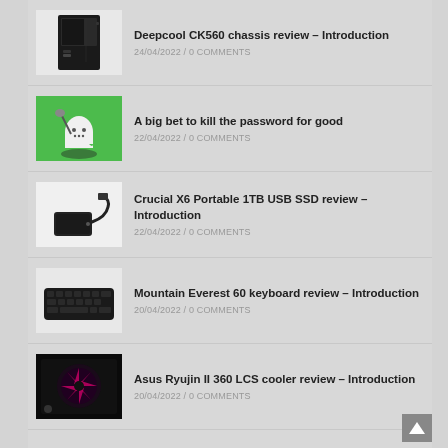Deepcool CK560 chassis review – Introduction
24/04/2022 / 0 COMMENTS
A big bet to kill the password for good
22/04/2022 / 0 COMMENTS
Crucial X6 Portable 1TB USB SSD review – Introduction
22/04/2022 / 0 COMMENTS
Mountain Everest 60 keyboard review – Introduction
20/04/2022 / 0 COMMENTS
Asus Ryujin II 360 LCS cooler review – Introduction
20/04/2022 / 0 COMMENTS